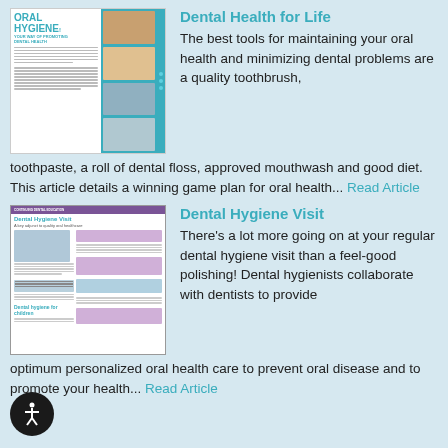[Figure (illustration): Thumbnail of Oral Hygiene magazine cover showing text 'ORAL HYGIENE' in teal, with photos of people and dental imagery arranged in a grid on teal background]
Dental Health for Life
The best tools for maintaining your oral health and minimizing dental problems are a quality toothbrush, toothpaste, a roll of dental floss, approved mouthwash and good diet. This article details a winning game plan for oral health... Read Article
[Figure (illustration): Thumbnail of Dental Hygiene Visit article page showing teal header banner, article title, photo of dental hygienist, and purple highlighted text boxes]
Dental Hygiene Visit
There's a lot more going on at your regular dental hygiene visit than a feel-good polishing! Dental hygienists collaborate with dentists to provide optimum personalized oral health care to prevent oral disease and to promote your health... Read Article